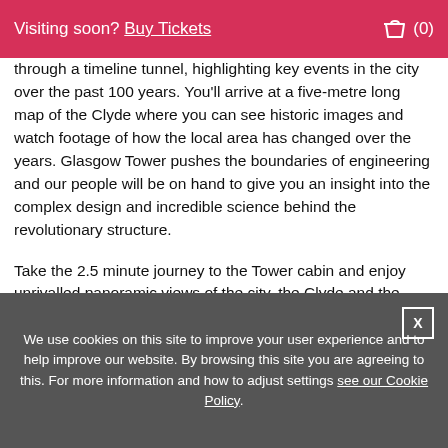Visiting soon? Buy Tickets (0)
through a timeline tunnel, highlighting key events in the city over the past 100 years. You'll arrive at a five-metre long map of the Clyde where you can see historic images and watch footage of how the local area has changed over the years. Glasgow Tower pushes the boundaries of engineering and our people will be on hand to give you an insight into the complex design and incredible science behind the revolutionary structure.
Take the 2.5 minute journey to the Tower cabin and enjoy unrivalled panoramic views of the city, the Clyde and the landscapes beyond. You can even explore a virtual panoramic view on iPads using new GAR (Geo-located Augmented Reality) technology to see all 360° around the viewing platform. Zoom into over a dozen places of interest and view contemporary and archive images, whilst keeping your feet firmly in the viewing
We use cookies on this site to improve your user experience and to help improve our website. By browsing this site you are agreeing to this. For more information and how to adjust settings see our Cookie Policy.